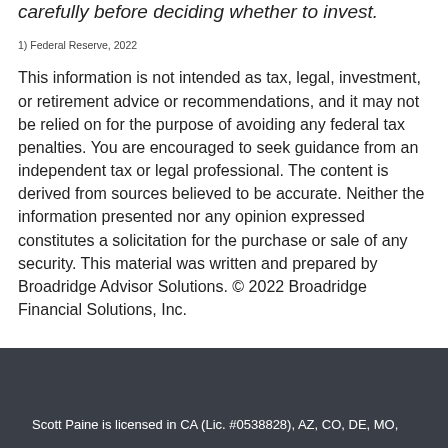carefully before deciding whether to invest.
1) Federal Reserve, 2022
This information is not intended as tax, legal, investment, or retirement advice or recommendations, and it may not be relied on for the purpose of avoiding any federal tax penalties. You are encouraged to seek guidance from an independent tax or legal professional. The content is derived from sources believed to be accurate. Neither the information presented nor any opinion expressed constitutes a solicitation for the purchase or sale of any security. This material was written and prepared by Broadridge Advisor Solutions. © 2022 Broadridge Financial Solutions, Inc.
Scott Paine is licensed in CA (Lic. #0538828), AZ, CO, DE, MO,